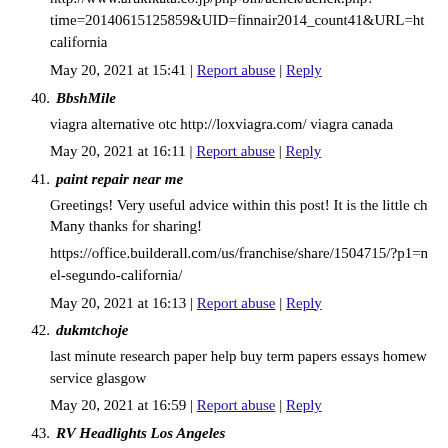http://www.arukikata.co.jp/php-bin/aclick/aclick.php?time=20140615125859&UID=finnair2014_count41&URL=ht california
May 20, 2021 at 15:41 | Report abuse | Reply
40. BbshMile
viagra alternative otc http://loxviagra.com/ viagra canada
May 20, 2021 at 16:11 | Report abuse | Reply
41. paint repair near me
Greetings! Very useful advice within this post! It is the little ch Many thanks for sharing!
https://office.builderall.com/us/franchise/share/1504715/?p1=n el-segundo-california/
May 20, 2021 at 16:13 | Report abuse | Reply
42. dukmtchoje
last minute research paper help buy term papers essays homew service glasgow
May 20, 2021 at 16:59 | Report abuse | Reply
43. RV Headlights Los Angeles